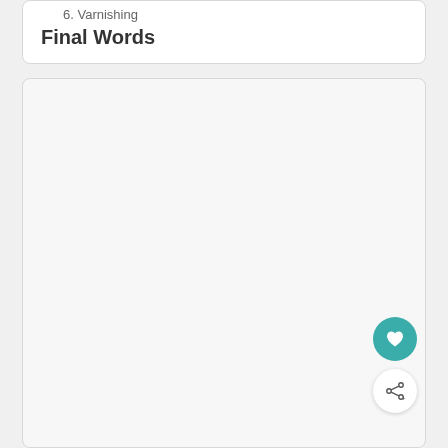6. Varnishing
Final Words
[Figure (other): Large blank light gray card/panel area below the table of contents card]
[Figure (other): Teal circular heart/favorite button]
[Figure (other): White circular share button with share icon and plus symbol]